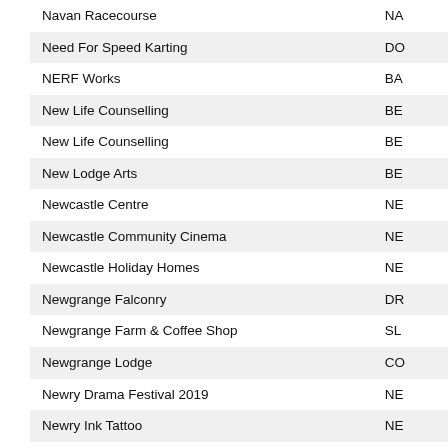| Name | Code |
| --- | --- |
| Navan Racecourse | NA |
| Need For Speed Karting | DO |
| NERF Works | BA |
| New Life Counselling | BE |
| New Life Counselling | BE |
| New Lodge Arts | BE |
| Newcastle Centre | NE |
| Newcastle Community Cinema | NE |
| Newcastle Holiday Homes | NE |
| Newgrange Falconry | DR |
| Newgrange Farm & Coffee Shop | SL |
| Newgrange Lodge | CO |
| Newry Drama Festival 2019 | NE |
| Newry Ink Tattoo | NE |
| Newry, Mourne and Down District Council - Ballynahinch Centre | BA |
| Newry, Mourne and Down District Council - Down Leisure Centre | DO |
| Newry, Mourne and Down District Council - Newcastle Centre | NE |